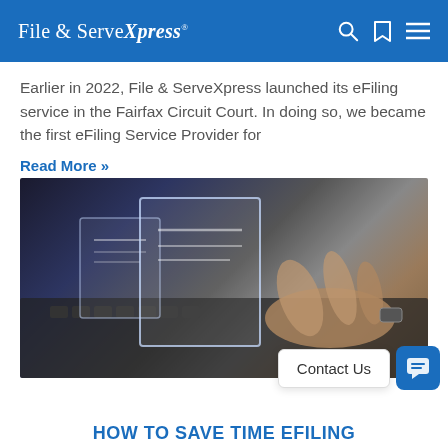File & ServeXpress
Earlier in 2022, File & ServeXpress launched its eFiling service in the Fairfax Circuit Court. In doing so, we became the first eFiling Service Provider for
Read More »
[Figure (photo): Hands typing on a laptop keyboard with glowing holographic document interfaces floating above the keyboard, representing digital eFiling technology]
Contact Us
HOW TO SAVE TIME EFILING